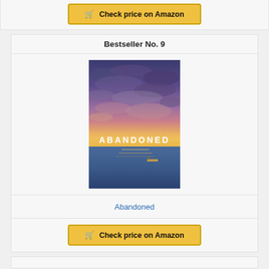[Figure (other): Amazon 'Check price on Amazon' button partially visible at top of page]
Bestseller No. 9
[Figure (photo): Book cover of 'Abandoned' showing a dramatic ocean sunset scene with the word ABANDONED in white text, a small vessel on the water, and purple and pink cloudy sky]
Abandoned
[Figure (other): Yellow 'Check price on Amazon' button with shopping cart icon]
[Figure (other): Partial next card section visible at bottom]